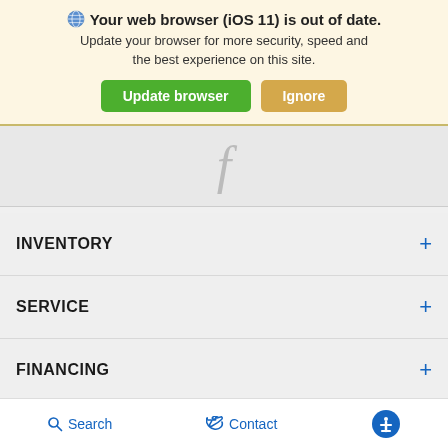[Figure (screenshot): Browser update warning banner with globe icon, bold text 'Your web browser (iOS 11) is out of date.', subtext, and two buttons: 'Update browser' (green) and 'Ignore' (tan/orange)]
[Figure (logo): Facebook 'f' logo in light gray on a gray background]
INVENTORY +
SERVICE +
FINANCING +
ABOUT +
Search   Contact   [Accessibility icon]